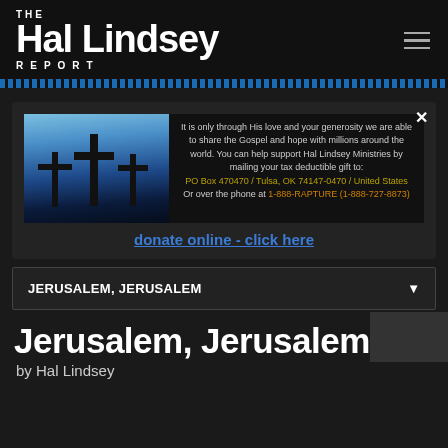THE Hal Lindsey REPORT
[Figure (infographic): Donation advertisement with three crosses silhouette image and text asking for support of Hal Lindsey Ministries. Includes mailing address PO Box 470470 / Tulsa, OK 74147-0470 / United States and phone 1-888-RAPTURE (1-888-727-8873)]
donate online - click here
JERUSALEM, JERUSALEM
Jerusalem, Jerusalem
by Hal Lindsey